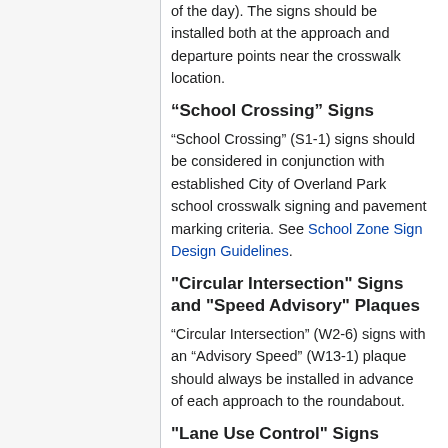of the day). The signs should be installed both at the approach and departure points near the crosswalk location.
“School Crossing” Signs
“School Crossing” (S1-1) signs should be considered in conjunction with established City of Overland Park school crosswalk signing and pavement marking criteria. See School Zone Sign Design Guidelines.
"Circular Intersection" Signs and "Speed Advisory" Plaques
“Circular Intersection” (W2-6) signs with an “Advisory Speed” (W13-1) plaque should always be installed in advance of each approach to the roundabout.
"Lane Use Control" Signs